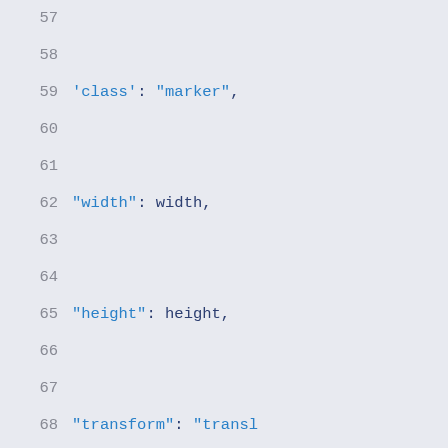[Figure (screenshot): Code editor screenshot showing JavaScript code lines 57-73 with syntax highlighting. Blue keywords and strings on a light gray background with line numbers.]